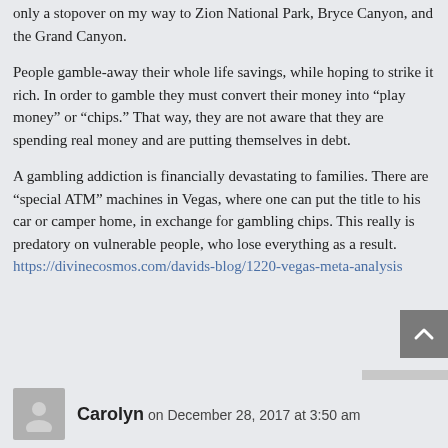only a stopover on my way to Zion National Park, Bryce Canyon, and the Grand Canyon.
People gamble-away their whole life savings, while hoping to strike it rich. In order to gamble they must convert their money into “play money” or “chips.” That way, they are not aware that they are spending real money and are putting themselves in debt.
A gambling addiction is financially devastating to families. There are “special ATM” machines in Vegas, where one can put the title to his car or camper home, in exchange for gambling chips. This really is predatory on vulnerable people, who lose everything as a result. https://divinecosmos.com/davids-blog/1220-vegas-meta-analysis
Carolyn on December 28, 2017 at 3:50 am